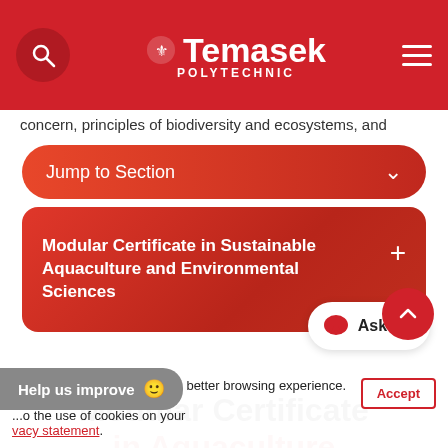Temasek Polytechnic
concern, principles of biodiversity and ecosystems, and
Jump to Section
Modular Certificate in Sustainable Aquaculture and Environmental Sciences
Modular Certificate in Aquaculture Technology
We use cookies to offer you a better browsing experience. By ... to the use of cookies on your ... vacy statement.
Help us improve